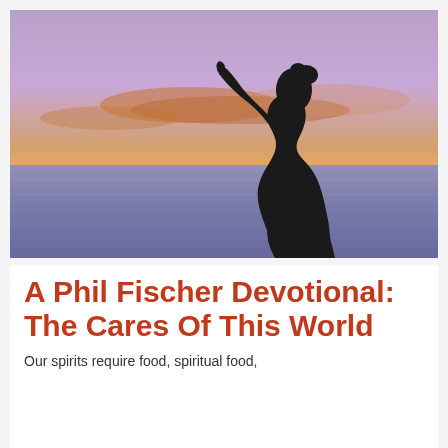[Figure (photo): Silhouette of a woman reaching one arm upward against a dramatic sunset sky over water. The sky transitions from purple and blue at the top to orange and pink near the horizon. The woman's dark silhouette is facing right with head tilted back and one arm raised.]
A Phil Fischer Devotional: The Cares Of This World
Our spirits require food, spiritual food,